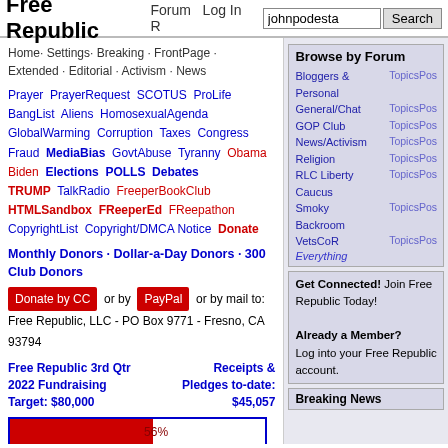Free Republic  Forum  Log In  R  johnpodesta  Search
Home· Settings· Breaking · FrontPage · Extended · Editorial · Activism · News
Prayer PrayerRequest SCOTUS ProLife BangList Aliens HomosexualAgenda GlobalWarming Corruption Taxes Congress Fraud MediaBias GovtAbuse Tyranny Obama Biden Elections POLLS Debates TRUMP TalkRadio FreeperBookClub HTMLSandbox FReeperEd FReepathon CopyrightList Copyright/DMCA Notice Donate
Monthly Donors · Dollar-a-Day Donors · 300 Club Donors
Donate by CC or by PayPal or by mail to: Free Republic, LLC - PO Box 9771 - Fresno, CA 93794
Free Republic 3rd Qtr 2022 Fundraising Target: $80,000   Receipts & Pledges to-date: $45,057
[Figure (other): Fundraising progress bar showing 56% completion, red fill on left, white on right]
Browse by Forum
| Forum | Links |
| --- | --- |
| Bloggers & Personal | TopicsPos |
| General/Chat | TopicsPos |
| GOP Club | TopicsPos |
| News/Activism | TopicsPos |
| Religion | TopicsPos |
| RLC Liberty Caucus | TopicsPos |
| Smoky Backroom | TopicsPos |
| VetsCoR | TopicsPos |
| Everything |  |
Get Connected! Join Free Republic Today!
Already a Member? Log into your Free Republic account.
Breaking News